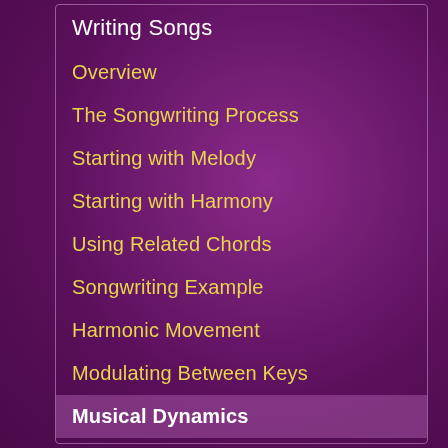Writing Songs
Overview
The Songwriting Process
Starting with Melody
Starting with Harmony
Using Related Chords
Songwriting Example
Harmonic Movement
Modulating Between Keys
Musical Dynamics
Writing Lyrics
Song Structure